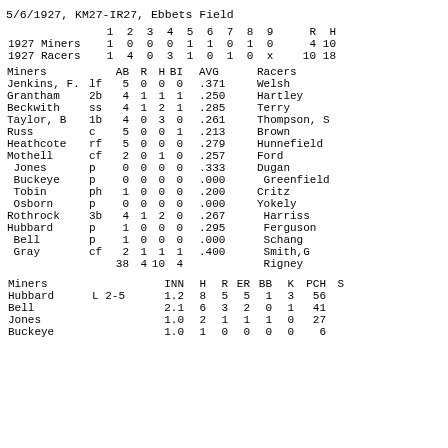5/6/1927, KM27-IR27, Ebbets Field
|  | 1 | 2 | 3 | 4 | 5 | 6 | 7 | 8 | 9 | R | H |
| --- | --- | --- | --- | --- | --- | --- | --- | --- | --- | --- | --- |
| 1927 Miners | 1 | 0 | 0 | 0 | 1 | 1 | 0 | 1 | 0 | 4 | 10 |
| 1927 Racers | 1 | 4 | 0 | 3 | 1 | 0 | 1 | 0 | x | 10 | 18 |
| Miners | AB | R | H | BI | AVG | Racers |
| --- | --- | --- | --- | --- | --- | --- |
| Jenkins, F. | lf | 5 | 0 | 0 | 0 | .371 | Welsh |
| Grantham | 2b | 4 | 1 | 1 | 1 | .250 | Hartley |
| Beckwith | ss | 4 | 1 | 2 | 1 | .285 | Terry |
| Taylor, B | 1b | 4 | 0 | 3 | 0 | .261 | Thompson, S |
| Russ | c | 5 | 0 | 0 | 1 | .213 | Brown |
| Heathcote | rf | 5 | 0 | 0 | 0 | .279 | Hunnefield |
| Mothell | cf | 2 | 0 | 1 | 0 | .257 | Ford |
|  Jones | p | 0 | 0 | 0 | 0 | .333 | Dugan |
|  Buckeye | p | 0 | 0 | 0 | 0 | .000 |  Greenfield |
|  Tobin | ph | 1 | 0 | 0 | 0 | .200 | Critz |
|  Osborn | p | 0 | 0 | 0 | 0 | .000 | Yokely |
| Rothrock | 3b | 4 | 1 | 2 | 0 | .267 |  Harriss |
| Hubbard | p | 1 | 0 | 0 | 0 | .295 |  Ferguson |
|  Bell | p | 1 | 0 | 0 | 0 | .000 |  Schang |
|  Gray | cf | 2 | 1 | 1 | 1 | .400 |  Smith,G |
|  |  | 38 | 4 | 10 | 4 |  |  Rigney |
| Miners |  | INN | H | R | ER | BB | K | PCH | S |
| --- | --- | --- | --- | --- | --- | --- | --- | --- | --- |
| Hubbard | L 2-5 | 1.2 | 8 | 5 | 5 | 1 | 3 | 56 |  |
| Bell |  | 2.1 | 6 | 3 | 2 | 0 | 1 | 41 |  |
| Jones |  | 1.0 | 2 | 1 | 1 | 1 | 0 | 27 |  |
| Buckeye |  | 1.0 | 1 | 0 | 0 | 0 | 0 | 6 |  |